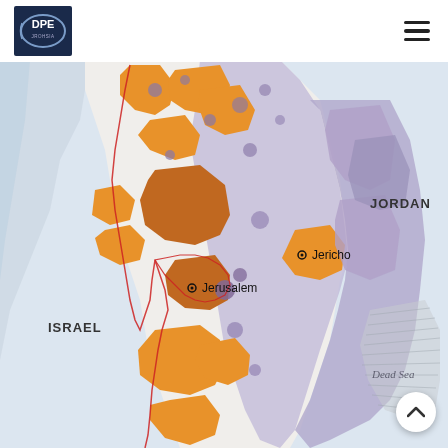DPE logo and navigation
[Figure (map): Map of the West Bank showing administrative areas (Area A, B, C) with Palestinian territories, Israeli-controlled zones, Jerusalem, Jericho, the Dead Sea. Countries labeled: Israel (west), Jordan (east). Color coding: orange for Palestinian built-up areas/Area A, purple/lavender for Area B/C Israeli civil control, brown for Area A, red outlines for municipal boundaries. Dead Sea shown with hatching in lower right.]